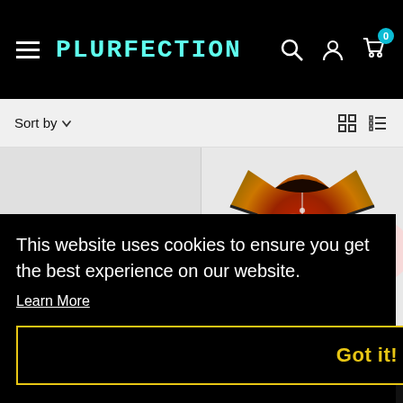PLURFECTION
Sort by
[Figure (photo): A baseball jersey with a colorful red, orange, and yellow galaxy/nebula design displayed on a product listing page]
for
This website uses cookies to ensure you get the best experience on our website. Learn More
Got it!
OS